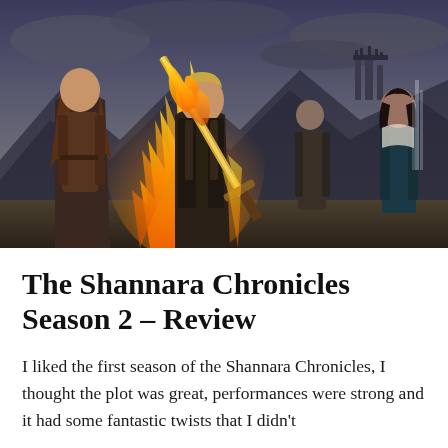[Figure (photo): Promotional image for The Shannara Chronicles Season 2 showing four characters in fantasy attire. A young man in the center holds a large flaming sword. A woman with long brown hair stands to his left. Two other characters are visible in the background against a dramatic sky with mountains and a castle.]
The Shannara Chronicles Season 2 – Review
I liked the first season of the Shannara Chronicles, I thought the plot was great, performances were strong and it had some fantastic twists that I didn't